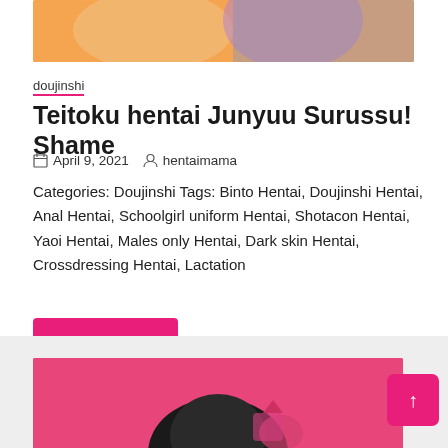[Figure (illustration): Partial view of anime/manga style illustration at top of page]
doujinshi
Teitoku hentai Junyuu Surussu! Shame
April 9, 2021   hentaimama
Categories: Doujinshi Tags: Binto Hentai, Doujinshi Hentai, Anal Hentai, Schoolgirl uniform Hentai, Shotacon Hentai, Yaoi Hentai, Males only Hentai, Dark skin Hentai, Crossdressing Hentai, Lactation
View Now
[Figure (illustration): Partial view of anime/manga style illustration at bottom of page with pink background]